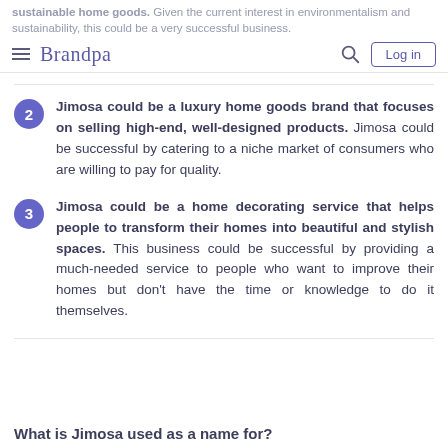sustainable home goods. Given the current interest in environmentalism and sustainability, this could be a very successful business.
2 Jimosa could be a luxury home goods brand that focuses on selling high-end, well-designed products. Jimosa could be successful by catering to a niche market of consumers who are willing to pay for quality.
3 Jimosa could be a home decorating service that helps people to transform their homes into beautiful and stylish spaces. This business could be successful by providing a much-needed service to people who want to improve their homes but don't have the time or knowledge to do it themselves.
What is Jimosa used as a name for?